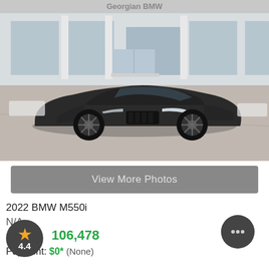[Figure (photo): 2022 BMW M550i black sedan photographed in front of a Georgian BMW dealership facade with large glass windows and white columns]
View More Photos
2022 BMW M550i
N/A
106,478
4.4
Payment: $0* (None)